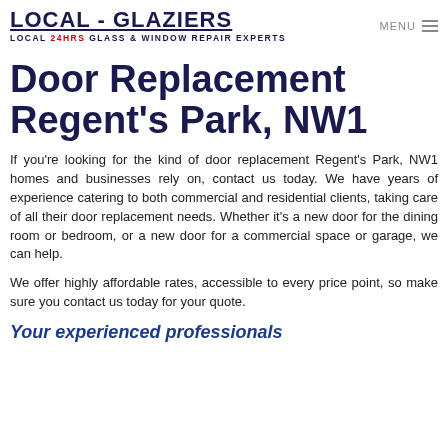LOCAL - GLAZIERS LOCAL 24HRS GLASS & WINDOW REPAIR EXPERTS
Door Replacement Regent's Park, NW1
If you're looking for the kind of door replacement Regent's Park, NW1 homes and businesses rely on, contact us today. We have years of experience catering to both commercial and residential clients, taking care of all their door replacement needs. Whether it's a new door for the dining room or bedroom, or a new door for a commercial space or garage, we can help.
We offer highly affordable rates, accessible to every price point, so make sure you contact us today for your quote.
Your experienced professionals